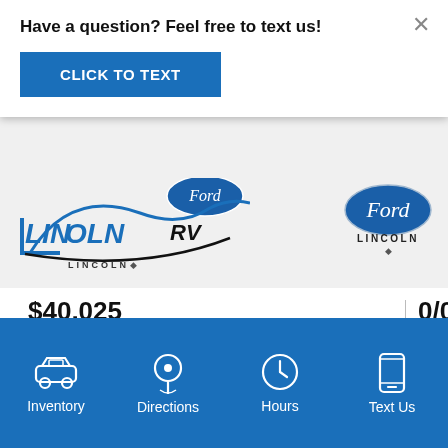Have a question? Feel free to text us!
CLICK TO TEXT
[Figure (logo): Lincoln RV dealership logo with Ford oval badge]
[Figure (logo): Ford oval badge with LINCOLN text beneath]
$40,025
MSRP
0/0
MPG
Inventory
Directions
Hours
Text Us